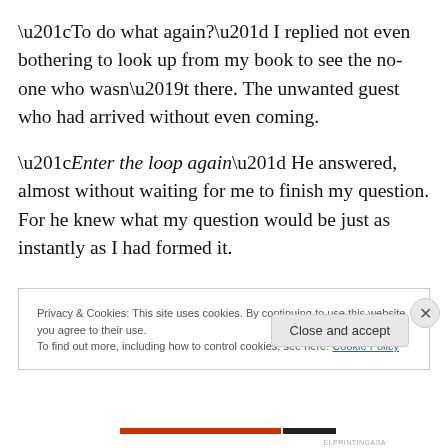“To do what again?” I replied not even bothering to look up from my book to see the no-one who wasn’t there.  The unwanted guest who had arrived without even coming.
“Enter the loop again”  He answered, almost without waiting for me to finish my question.  For he knew what my question would be just as instantly as I had formed it.
Privacy & Cookies: This site uses cookies. By continuing to use this website, you agree to their use.
To find out more, including how to control cookies, see here: Cookie Policy